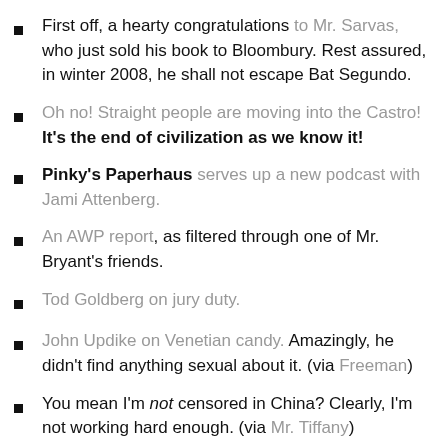First off, a hearty congratulations to Mr. Sarvas, who just sold his book to Bloombury. Rest assured, in winter 2008, he shall not escape Bat Segundo.
Oh no! Straight people are moving into the Castro! It’s the end of civilization as we know it!
Pinky’s Paperhaus serves up a new podcast with Jami Attenberg.
An AWP report, as filtered through one of Mr. Bryant’s friends.
Tod Goldberg on jury duty.
John Updike on Venetian candy. Amazingly, he didn’t find anything sexual about it. (via Freeman)
You mean I’m not censored in China? Clearly, I’m not working hard enough. (via Mr. Tiffany)